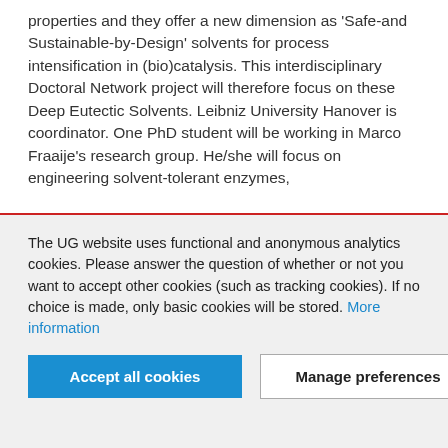properties and they offer a new dimension as 'Safe-and Sustainable-by-Design' solvents for process intensification in (bio)catalysis. This interdisciplinary Doctoral Network project will therefore focus on these Deep Eutectic Solvents. Leibniz University Hanover is coordinator. One PhD student will be working in Marco Fraaije's research group. He/she will focus on engineering solvent-tolerant enzymes,
The UG website uses functional and anonymous analytics cookies. Please answer the question of whether or not you want to accept other cookies (such as tracking cookies). If no choice is made, only basic cookies will be stored. More information
Accept all cookies | Manage preferences